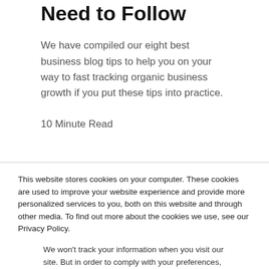Need to Follow
We have compiled our eight best business blog tips to help you on your way to fast tracking organic business growth if you put these tips into practice.
10 Minute Read
This website stores cookies on your computer. These cookies are used to improve your website experience and provide more personalized services to you, both on this website and through other media. To find out more about the cookies we use, see our Privacy Policy.
We won't track your information when you visit our site. But in order to comply with your preferences, we'll have to use just one tiny cookie so that you're not asked to make this choice again.